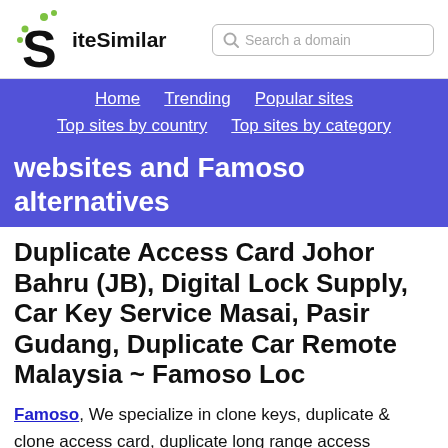SiteSimilar — Search a domain
Home | Trending | Popular sites | Top sites by country | Top sites by category
websites and Famoso alternatives
Duplicate Access Card Johor Bahru (JB), Digital Lock Supply, Car Key Service Masai, Pasir Gudang, Duplicate Car Remote Malaysia ~ Famoso Loc
Famoso, We specialize in clone keys, duplicate & clone access card, duplicate long range access